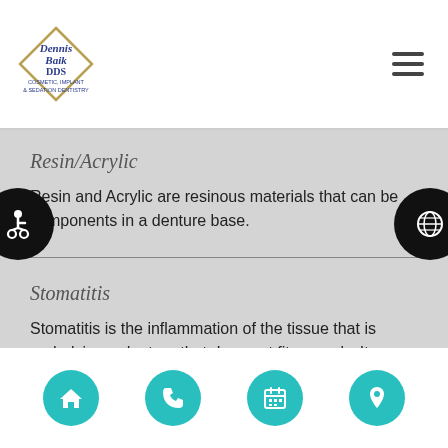Dennis Baik DDS — Cosmetic, Implant & Sedation Dentistry
Resin/Acrylic
Resin and Acrylic are resinous materials that can be components in a denture base.
Stomatitis
Stomatitis is the inflammation of the tissue that is underlying a denture that does not fit properly. It can also result from other oral health factors.
Home | Phone | Calendar | Location